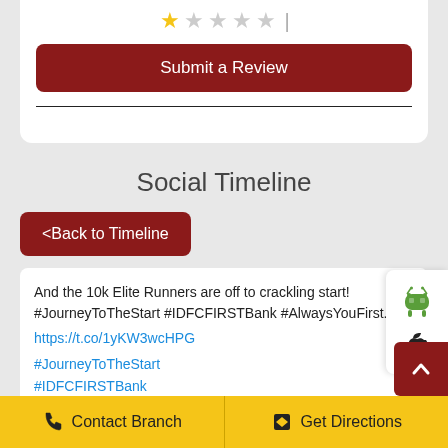[Figure (screenshot): Star rating row with one filled star and four empty stars followed by a pipe character]
Submit a Review
Social Timeline
<Back to Timeline
And the 10k Elite Runners are off to crackling start! #JourneyToTheStart #IDFCFIRSTBank #AlwaysYouFirst... https://t.co/1yKW3wcHPG #JourneyToTheStart #IDFCFIRSTBank #AlwaysYouFirst
[Figure (logo): Android robot icon (green) and Apple logo icon on a white side panel]
Contact Branch
Get Directions